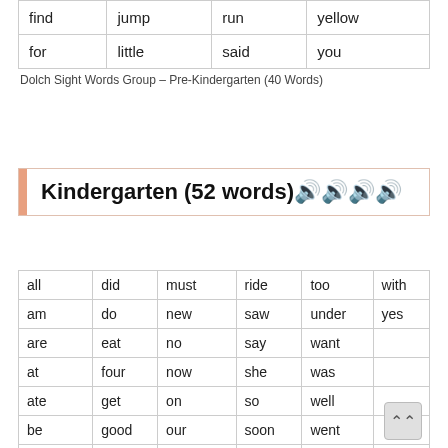| find | jump | run | yellow |
| for | little | said | you |
Dolch Sight Words Group – Pre-Kindergarten (40 Words)
Kindergarten (52 words)🔊🔊🔊🔊
| all | did | must | ride | too | with |
| am | do | new | saw | under | yes |
| are | eat | no | say | want |  |
| at | four | now | she | was |  |
| ate | get | on | so | well |  |
| be | good | our | soon | went |  |
| black | have | out | that | what |  |
| brown | he | please | there | white |  |
| but | into | pretty | they | who |  |